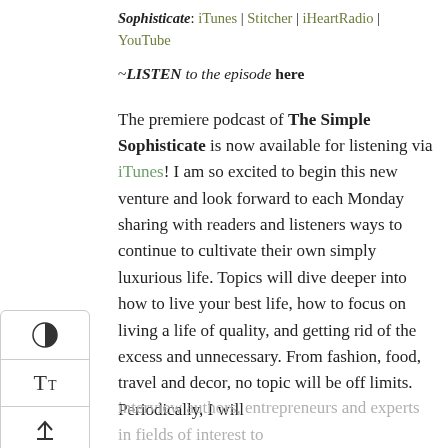Sophisticate: iTunes | Stitcher | iHeartRadio | YouTube
~LISTEN to the episode here
The premiere podcast of The Simple Sophisticate is now available for listening via iTunes! I am so excited to begin this new venture and look forward to each Monday sharing with readers and listeners ways to continue to cultivate their own simply luxurious life. Topics will dive deeper into how to live your best life, how to focus on living a life of quality, and getting rid of the excess and unnecessary. From fashion, food, travel and decor, no topic will be off limits. Periodically, I will interview authors, entrepreneurs and experts in fields of interest to